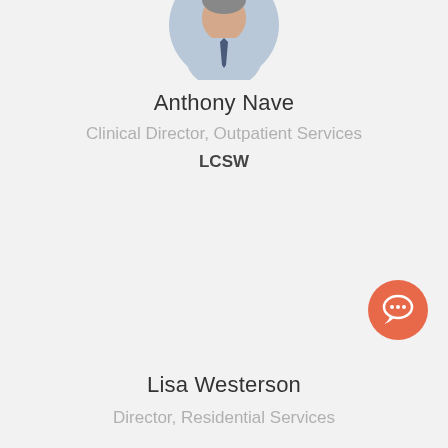[Figure (photo): Circular profile photo of Anthony Nave, a man in a light blue shirt and dark tie, cropped at the top of the page]
Anthony Nave
Clinical Director, Outpatient Services
LCSW
[Figure (illustration): Orange circular chat/message button icon in bottom right area]
Lisa Westerson
Director, Residential Services